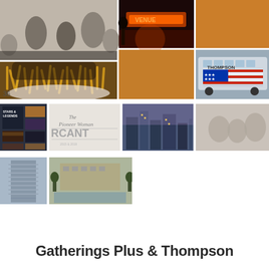[Figure (photo): Photo collage grid at top: black-and-white photo of couple with lions, food photo with fries, neon-lit venue, brown/tan color block, tan/brown color block, coach bus with American flag livery]
[Figure (photo): Row of four smaller thumbnail images: Stars & Legends book cover, Pioneer Woman Mercantile logo/storefront, city skyline at dusk, black-and-white group photo]
[Figure (photo): Row of two thumbnail images: tall modern building facade, building with reflecting pool or garden]
Gatherings Plus & Thompson